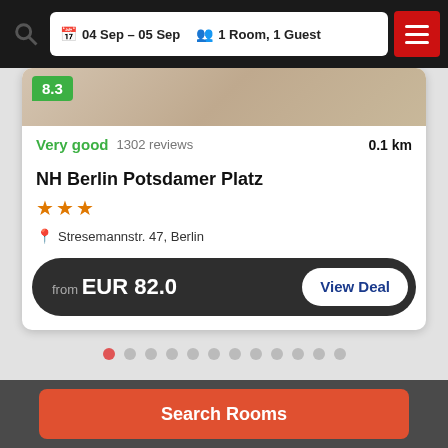04 Sep - 05 Sep  1 Room, 1 Guest
[Figure (screenshot): Hotel room photo strip showing beige/tan room interior]
8.3
Very good  1302 reviews  0.1 km
NH Berlin Potsdamer Platz
★★★
Stresemannstr. 47, Berlin
from EUR82.0  View Deal
[Figure (infographic): Pagination dots row, first dot active (red), 12 dots total]
Search Rooms